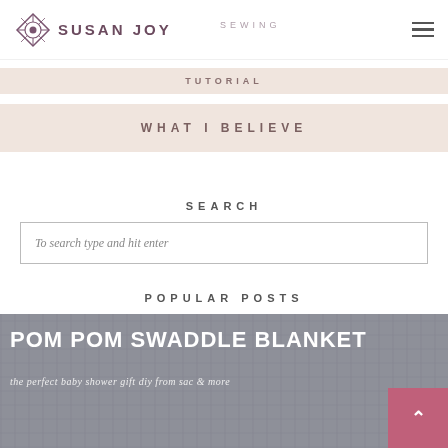SUSAN JOY SEWING
TUTORIAL
WHAT I BELIEVE
SEARCH
To search type and hit enter
POPULAR POSTS
[Figure (photo): Pom Pom Swaddle Blanket promotional image with fabric background and text overlay reading 'POM POM SWADDLE BLANKET - the perfect baby shower gift, diy from sac & more']